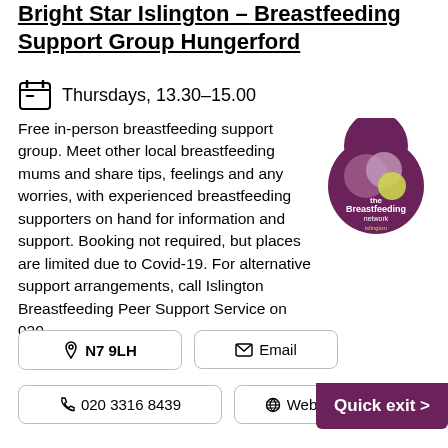Bright Star Islington – Breastfeeding Support Group Hungerford
Thursdays, 13.30–15.00
Free in-person breastfeeding support group. Meet other local breastfeeding mums and share tips, feelings and any worries, with experienced breastfeeding supporters on hand for information and support. Booking not required, but places are limited due to Covid-19. For alternative support arrangements, call Islington Breastfeeding Peer Support Service on 020...
[Figure (logo): The Breastfeeding Network – Islington logo: purple teardrop shape with overlapping circles and text]
N7 9LH
Email
020 3316 8439
Website
Quick exit >